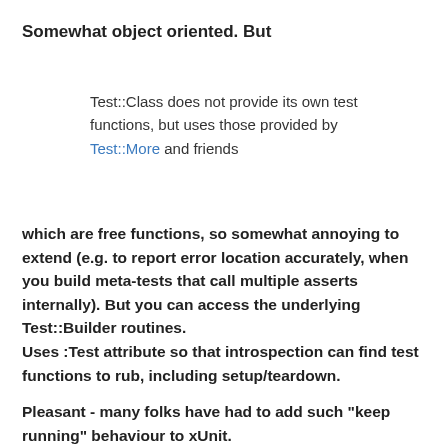Somewhat object oriented.  But
Test::Class does not provide its own test functions, but uses those provided by Test::More and friends
which are free functions, so somewhat annoying to extend (e.g. to report error location accurately, when you build meta-tests that call multiple asserts internally). But you can access the underlying Test::Builder routines.
Uses :Test attribute so that introspection can find test functions to rub, including setup/teardown.
Pleasant - many folks have had to add such "keep running" behaviour to xUnit.